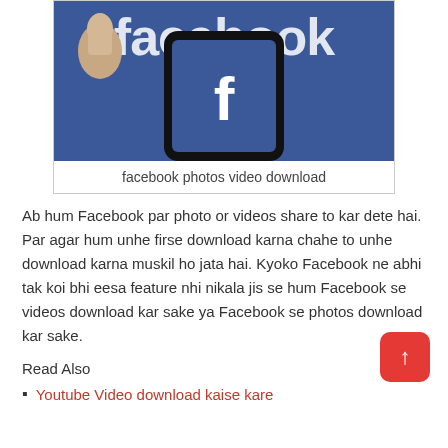[Figure (photo): A hand holding a smartphone displaying the Facebook app (blue background with white 'f' logo), with the word 'facebook' visible in the background]
facebook photos video download
Ab hum Facebook par photo or videos share to kar dete hai. Par agar hum unhe firse download karna chahe to unhe download karna muskil ho jata hai. Kyoko Facebook ne abhi tak koi bhi eesa feature nhi nikala jis se hum Facebook se videos download kar sake ya Facebook se photos download kar sake.
Read Also
Youtube Video download kaise kare